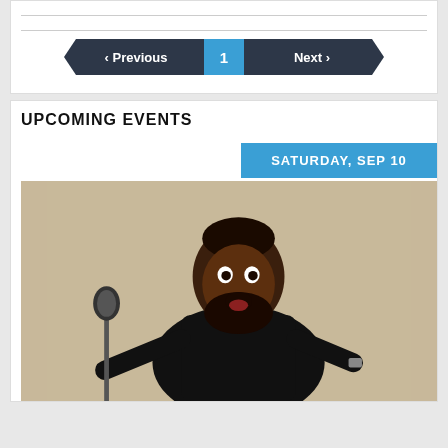‹ Previous  1  Next ›
UPCOMING EVENTS
SATURDAY, SEP 10
[Figure (photo): A Black man in a black polo shirt with a full beard, holding a microphone stand with an excited/surprised expression, posed against a light beige background — a comedian or performer promotional photo.]